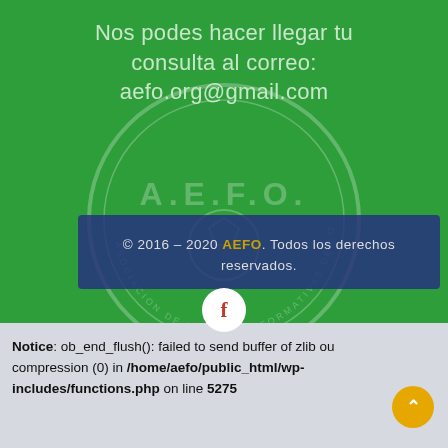Nos podes hacer llegar tu consulta al correo: aefo.org@gmail.com
[Figure (logo): AEFO watermark logo — circular badge with 'A.E.F.O.' text and 'ASOCIACION DE ESCUELAS FORMATIVAS DEL OESTE' around the border, with a soccer ball in the center, semi-transparent white on green background]
© 2016 – 2020 AEFO. Todos los derechos reservados.
Notice: ob_end_flush(): failed to send buffer of zlib output compression (0) in /home/aefo/public_html/wp-includes/functions.php on line 5275